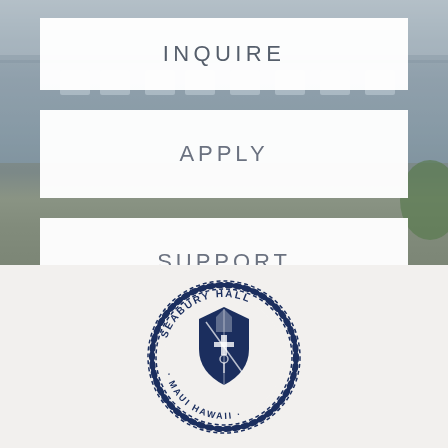[Figure (photo): Aerial/overhead view of a building with white walls and covered walkways, serving as background for the Seabury Hall school website menu]
INQUIRE
APPLY
SUPPORT
[Figure (logo): Seabury Hall school seal/logo — circular emblem with a bishop's mitre and cross shield in the center, surrounded by text reading SEABURY HALL · MAUI HAWAII · with a decorative rope/wreath border, in dark navy blue on light gray background]